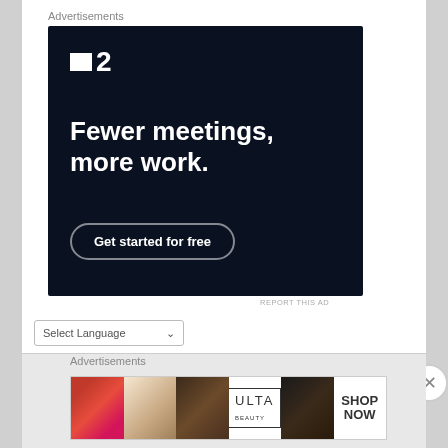Advertisements
[Figure (infographic): Dark navy advertisement for a project management tool showing logo 'P2', tagline 'Fewer meetings, more work.' and a 'Get started for free' call-to-action button]
REPORT THIS AD
Select Language
Powered by Google Translate
Advertisements
[Figure (infographic): Ulta Beauty advertisement banner showing makeup images including lips, brush, eye makeup, Ulta logo, and 'SHOP NOW' text]